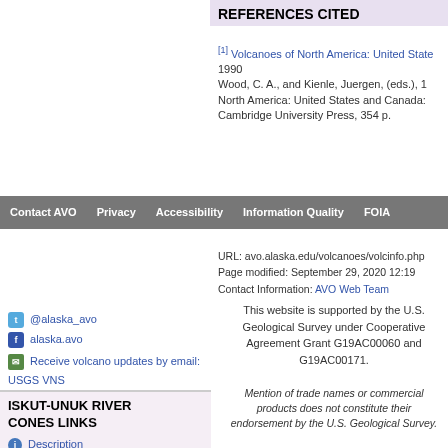REFERENCES CITED
[1] Volcanoes of North America: United States 1990
Wood, C. A., and Kienle, Juergen, (eds.), 1
North America: United States and Canada:
Cambridge University Press, 354 p.
Contact AVO  Privacy  Accessibility  Information Quality  FOIA
URL: avo.alaska.edu/volcanoes/volcinfo.php
Page modified: September 29, 2020 12:19
Contact Information: AVO Web Team
@alaska_avo
alaska.avo
Receive volcano updates by email: USGS VNS
This website is supported by the U.S. Geological Survey under Cooperative Agreement Grant G19AC00060 and G19AC00171.
Mention of trade names or commercial products does not constitute their endorsement by the U.S. Geological Survey.
ISKUT-UNUK RIVER CONES LINKS
Description